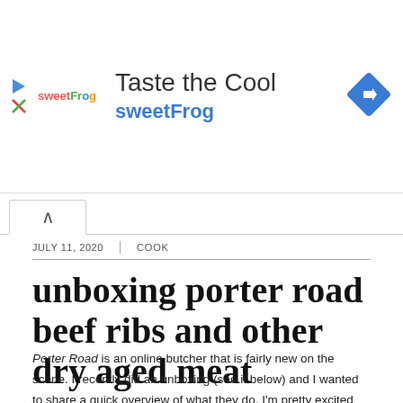[Figure (screenshot): sweetFrog 'Taste the Cool' advertisement banner with logo, text, and blue diamond arrow icon]
JULY 11, 2020  |  COOK
unboxing porter road beef ribs and other dry aged meat
Porter Road is an online butcher that is fairly new on the scene. I recently did an unboxing (see it below) and I wanted to share a quick overview of what they do. I'm pretty excited about what they have to offer. I really liked the product. Especially the Porter Road